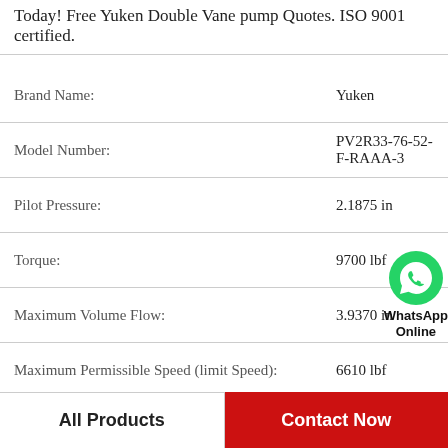Today! Free Yuken Double Vane pump Quotes. ISO 9001 certified.
| Attribute | Value |
| --- | --- |
| Brand Name: | Yuken |
| Model Number: | PV2R33-76-52-F-RAAA-3 |
| Pilot Pressure: | 2.1875 in |
| Torque: | 9700 lbf |
| Maximum Volume Flow: | 3.9370 in |
| Maximum Permissible Speed (limit Speed): | 6610 lbf |
| Power: | 0.9450 in |
| Displacement, geometric, per revolution: | AISI 52100 Steel |
| [partial row] | 0.4[...] |
[Figure (logo): WhatsApp Online green circle icon with phone symbol and text 'WhatsApp Online']
All Products
Contact Now